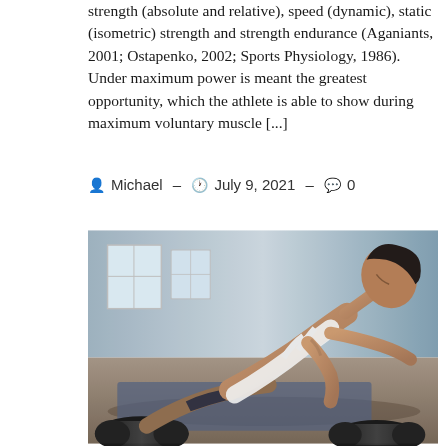strength (absolute and relative), speed (dynamic), static (isometric) strength and strength endurance (Aganiants, 2001; Ostapenko, 2002; Sports Physiology, 1986). Under maximum power is meant the greatest opportunity, which the athlete is able to show during maximum voluntary muscle [...]
Michael – July 9, 2021 – 0
[Figure (photo): A fit woman in a white sports top doing push-ups with dumbbells on a gym floor, viewed from a low angle. The background shows a gym interior with windows.]